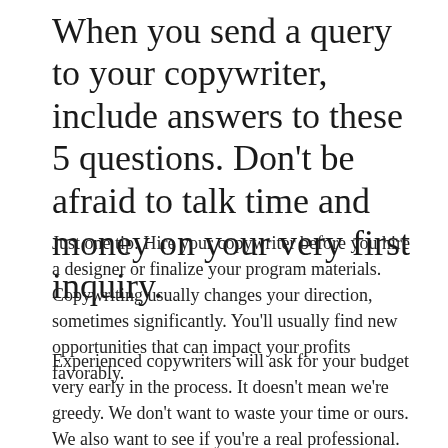When you send a query to your copywriter, include answers to these 5 questions. Don't be afraid to talk time and money on your very first inquiry.
Just one tip: Hire your copywriter before you hire a designer or finalize your program materials. Copywriting usually changes your direction, sometimes significantly. You'll usually find new opportunities that can impact your profits favorably.
Experienced copywriters will ask for your budget very early in the process. It doesn't mean we're greedy. We don't want to waste your time or ours. We also want to see if you're a real professional. Professionals have budgets...